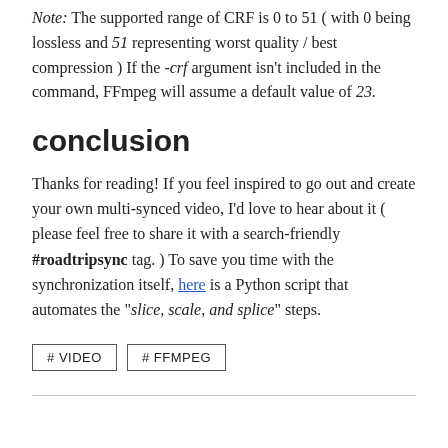Note: The supported range of CRF is 0 to 51 ( with 0 being lossless and 51 representing worst quality / best compression ) If the -crf argument isn't included in the command, FFmpeg will assume a default value of 23.
conclusion
Thanks for reading! If you feel inspired to go out and create your own multi-synced video, I'd love to hear about it ( please feel free to share it with a search-friendly #roadtripsync tag. ) To save you time with the synchronization itself, here is a Python script that automates the "slice, scale, and splice" steps.
# VIDEO
# FFMPEG